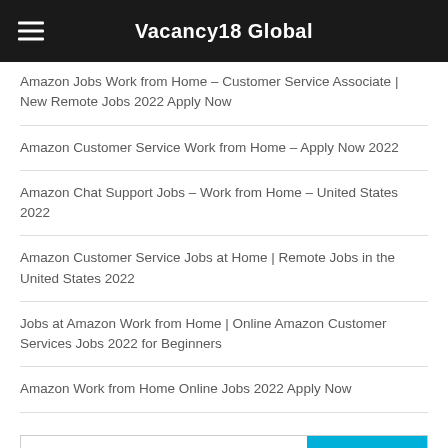Vacancy18 Global
Amazon Jobs Work from Home – Customer Service Associate | New Remote Jobs 2022 Apply Now
Amazon Customer Service Work from Home – Apply Now 2022
Amazon Chat Support Jobs – Work from Home – United States 2022
Amazon Customer Service Jobs at Home | Remote Jobs in the United States 2022
Jobs at Amazon Work from Home | Online Amazon Customer Services Jobs 2022 for Beginners
Amazon Work from Home Online Jobs 2022 Apply Now
Search
New Job Vacancy